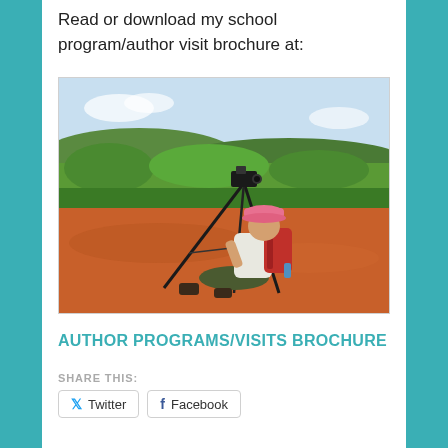Read or download my school program/author visit brochure at:
[Figure (photo): Person wearing a pink hat and red backpack sitting on red rocky ground, looking through a camera on a tripod, with green vegetation and sky in the background.]
AUTHOR PROGRAMS/VISITS BROCHURE
SHARE THIS:
Twitter   Facebook